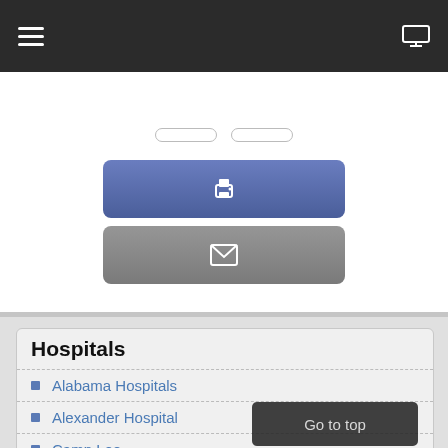Navigation bar with menu icon and monitor icon
[Figure (screenshot): Blue print button and gray email button in upper white section]
Hospitals
Alabama Hospitals
Alexander Hospital
Camp Lee
Central Hospital
Chimborazo Hospital
City Hospital